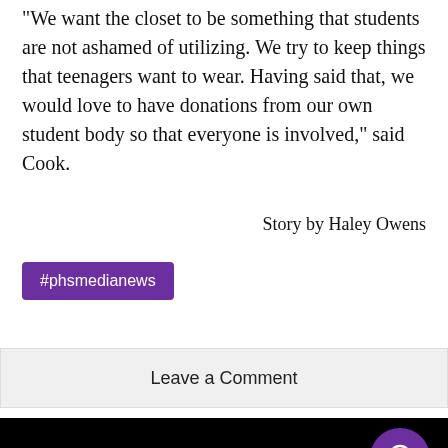We want the closet to be something that students are not ashamed of utilizing. We try to keep things that teenagers want to wear. Having said that, we would love to have donations from our own student body so that everyone is involved," said Cook.
Story by Haley Owens
#phsmedianews
Leave a Comment
Donate to PHS Media News
Your donation will support the student journalist